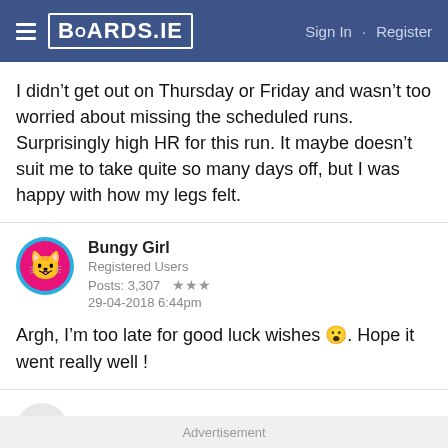BOARDS.IE  Sign In · Register
I didn't get out on Thursday or Friday and wasn't too worried about missing the scheduled runs. Surprisingly high HR for this run. It maybe doesn't suit me to take quite so many days off, but I was happy with how my legs felt.
Bungy Girl
Registered Users
Posts: 3,307 ★★★
29-04-2018 6:44pm
Argh, I'm too late for good luck wishes 😮. Hope it went really well !
Huzzah!
Advertisement